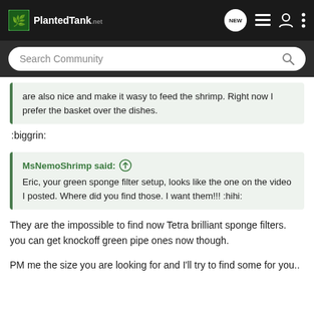PlantedTank NEW
Search Community
are also nice and make it wasy to feed the shrimp. Right now I prefer the basket over the dishes.
:biggrin:
MsNemoShrimp said: Eric, your green sponge filter setup, looks like the one on the video I posted. Where did you find those. I want them!!! :hihi:
They are the impossible to find now Tetra brilliant sponge filters. you can get knockoff green pipe ones now though.
PM me the size you are looking for and I'll try to find some for you..